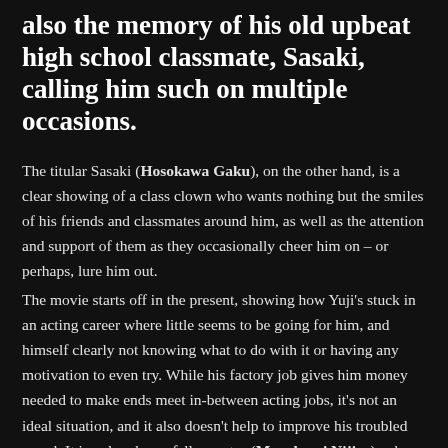also the memory of his old upbeat high school classmate, Sasaki, calling him such on multiple occasions.
The titular Sasaki (Hosokawa Gaku), on the other hand, is a clear showing of a class clown who wants nothing but the smiles of his friends and classmates around him, as well as the attention and support of them as they occasionally cheer him on – or perhaps, lure him out.
The movie starts off in the present, showing how Yuji's stuck in an acting career where little seems to be going for him, and himself clearly not knowing what to do with it or having any motivation to even try. While his factory job gives him money needed to make ends meet in-between acting jobs, it's not an ideal situation, and it also doesn't help to improve his troubled mood. It is only when a fellow actor (Murakami Nijiro), whose